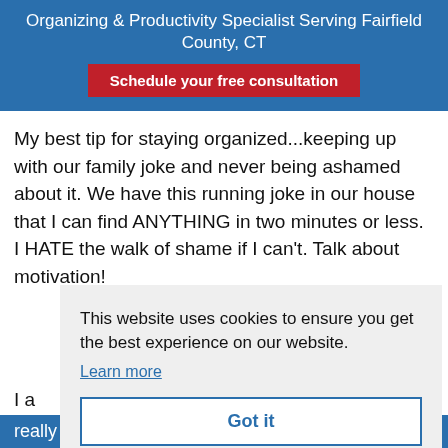Organizing & Productivity Specialist Serving Fairfield County, CT
Schedule your free consultation
My best tip for staying organized...keeping up with our family joke and never being ashamed about it. We have this running joke in our house that I can find ANYTHING in two minutes or less. I HATE the walk of shame if I can't. Talk about motivation!
This website uses cookies to ensure you get the best experience on our website. Learn more
Got it
I a
really have your act together! The basement stairs